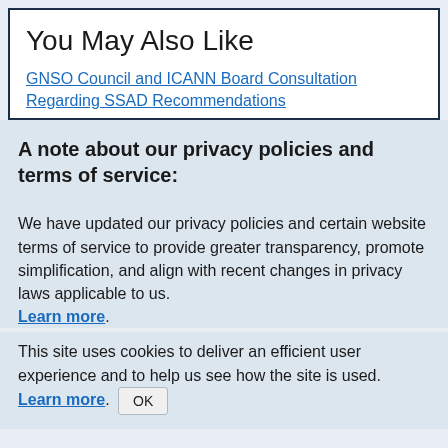You May Also Like
GNSO Council and ICANN Board Consultation Regarding SSAD Recommendations
A note about our privacy policies and terms of service:
We have updated our privacy policies and certain website terms of service to provide greater transparency, promote simplification, and align with recent changes in privacy laws applicable to us. Learn more.
This site uses cookies to deliver an efficient user experience and to help us see how the site is used. Learn more. OK